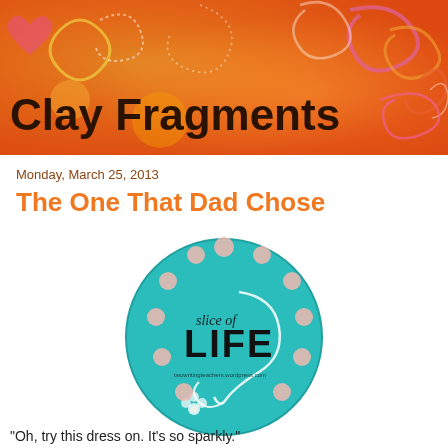[Figure (illustration): Blog header banner with orange gradient background and decorative swirls/spirals in pink, yellow, and white. Title 'Clay Fragments' in bold dark text overlaid on the banner.]
Clay Fragments
Monday, March 25, 2013
The One That Dad Chose
[Figure (logo): Teal/turquoise circular badge with 'Slice of LIFE' text in black, decorated with white floral swirls and pink polka dot circles around the border. Website URL at bottom of circle.]
"Oh, try this dress on.  It's so sparkly."